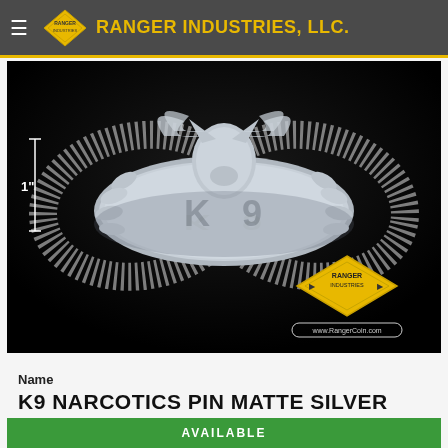RANGER INDUSTRIES, LLC.
[Figure (photo): Silver K9 Narcotics pin/badge with wreath design and German Shepherd head, shown on black background with reflection. Size indicator '1"' shown on left. Ranger Industries logo watermark in bottom right corner.]
Name
K9 NARCOTICS PIN MATTE SILVER
Available